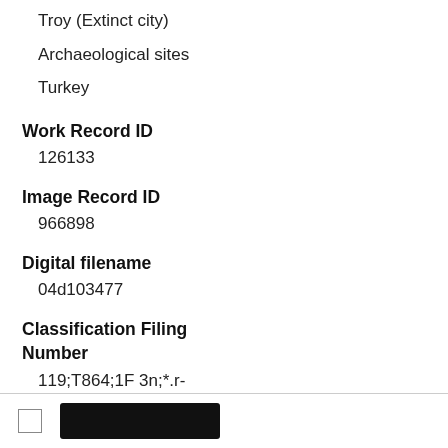Troy (Extinct city)
Archaeological sites
Turkey
Work Record ID
126133
Image Record ID
966898
Digital filename
04d103477
Classification Filing Number
119;T864;1F 3n;*.r-digitalonly
Date Added/Updated
2012-11-25 04:21:18